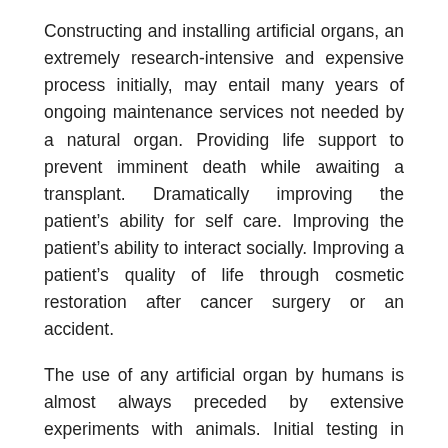Constructing and installing artificial organs, an extremely research-intensive and expensive process initially, may entail many years of ongoing maintenance services not needed by a natural organ. Providing life support to prevent imminent death while awaiting a transplant. Dramatically improving the patient's ability for self care. Improving the patient's ability to interact socially. Improving a patient's quality of life through cosmetic restoration after cancer surgery or an accident.
The use of any artificial organ by humans is almost always preceded by extensive experiments with animals. Initial testing in humans is frequently limited to those either already facing death or who have exhausted every other treatment possibility.
Enhancement